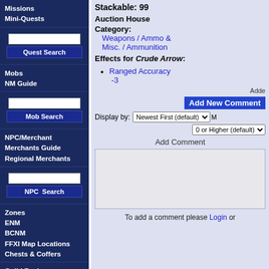Missions
Mini-Quests
Quest Search
Mobs
NM Guide
Mob Search
NPC/Merchant
Merchants Guide
Regional Merchants
NPC Search
Zones
ENM
BCNM
FFXI Map Locations
Chests & Coffers
Guild Recipes
Recipes by Guild
Gardening
Chocobo Digging
Fishing
Excavating
Stackable: 99
Auction House Category:
Weapons / Ammo & Misc. / Ammunition
Effects for Crude Arrow:
Ranged Accuracy -3
Add New Comment
Display by: Newest First (default)
0 or Higher (default)
Add Comment
To add a comment please Login or